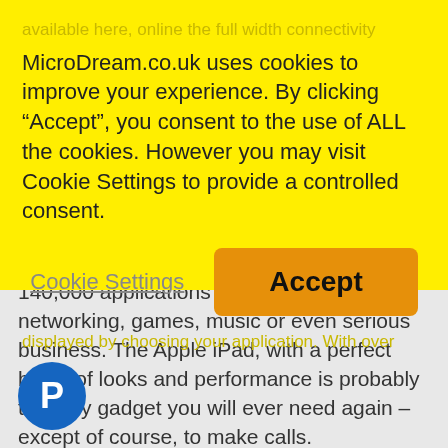available here, online the full width connectivity
MicroDream.co.uk uses cookies to improve your experience. By clicking “Accept”, you consent to the use of ALL the cookies. However you may visit Cookie Settings to provide a controlled consent.
Cookie Settings
Accept
140,000 applications - be it for social networking, games, music or even serious business. The Apple iPad, with a perfect blend of looks and performance is probably the only gadget you will ever need again – except of course, to make calls.
Please note the iPad1 will only run up to iOS 5.1.1 and do not have a Camera
What's in the Box: